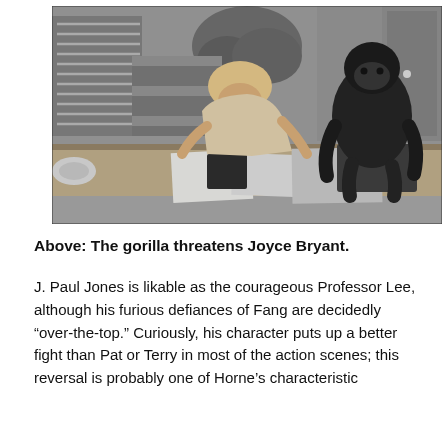[Figure (photo): Black and white photograph showing a woman leaning over a desk with papers and a briefcase, while a gorilla stands in the background on the right. The scene appears to be from a television show or film set with plants and furniture visible.]
Above: The gorilla threatens Joyce Bryant.
J. Paul Jones is likable as the courageous Professor Lee, although his furious defiances of Fang are decidedly “over-the-top.” Curiously, his character puts up a better fight than Pat or Terry in most of the action scenes; this reversal is probably one of Horne’s characteristic